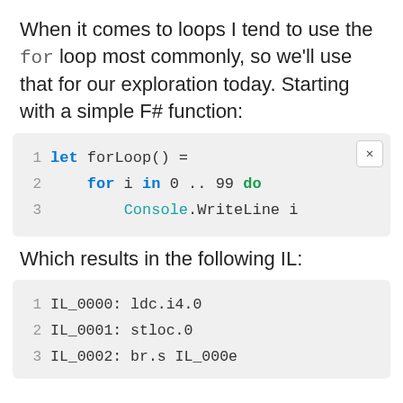When it comes to loops I tend to use the for loop most commonly, so we'll use that for our exploration today. Starting with a simple F# function:
[Figure (screenshot): F# code snippet in a light gray box showing: 1  let forLoop() =   2      for i in 0 .. 99 do   3          Console.WriteLine i]
Which results in the following IL:
[Figure (screenshot): IL code snippet showing: 1  IL_0000: ldc.i4.0   2  IL_0001: stloc.0   3  IL_0002: br.s IL_000e]